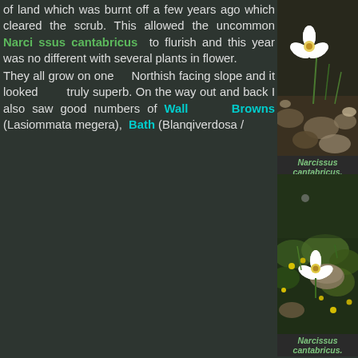of land which was burnt off a few years ago which cleared the scrub. This allowed the uncommon Narcissus cantabricus to flurish and this year was no different with several plants in flower. They all grow on one Northish facing slope and it looked truly superb. On the way out and back I also saw good numbers of Wall Browns (Lasiommata megera), Bath (Blanqiverdosa /
[Figure (photo): Close-up photograph of a white Narcissus cantabricus flower against rocky ground]
Narcissus cantabricus.
[Figure (photo): Photograph of Narcissus cantabricus plant in flower growing on a Northish facing slope with yellow flowers and rocks in background]
Narcissus cantabricus.